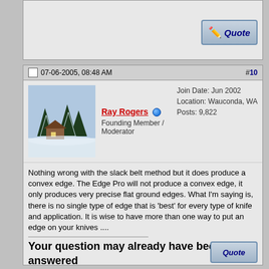[Figure (screenshot): Quote button at top of forum post area]
07-06-2005, 08:48 AM   #10
[Figure (photo): Avatar: winter forest scene with snow-covered trees and cabin]
Ray Rogers
Founding Member / Moderator
Join Date: Jun 2002
Location: Wauconda, WA
Posts: 9,822
Nothing wrong with the slack belt method but it does produce a convex edge. The Edge Pro will not produce a convex edge, it only produces very precise flat ground edges. What I'm saying is, there is no single type of edge that is 'best' for every type of knife and application. It is wise to have more than one way to put an edge on your knives ....
Your question may already have been answered - try the Search button first!
[Figure (screenshot): Partial Quote button at bottom of post]